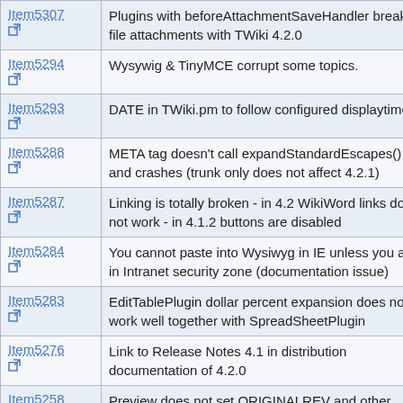| Item | Description |
| --- | --- |
| Item5307 | Plugins with beforeAttachmentSaveHandler break file attachments with TWiki 4.2.0 |
| Item5294 | Wysywig & TinyMCE corrupt some topics. |
| Item5293 | DATE in TWiki.pm to follow configured displaytime |
| Item5288 | META tag doesn't call expandStandardEscapes() and crashes (trunk only does not affect 4.2.1) |
| Item5287 | Linking is totally broken - in 4.2 WikiWord links do not work - in 4.1.2 buttons are disabled |
| Item5284 | You cannot paste into Wysiwyg in IE unless you are in Intranet security zone (documentation issue) |
| Item5283 | EditTablePlugin dollar percent expansion does not work well together with SpreadSheetPlugin |
| Item5276 | Link to Release Notes 4.1 in distribution documentation of 4.2.0 |
| Item5258 | Preview does not set ORIGINALREV and other values in edit.tmpl, so continuing from there has |